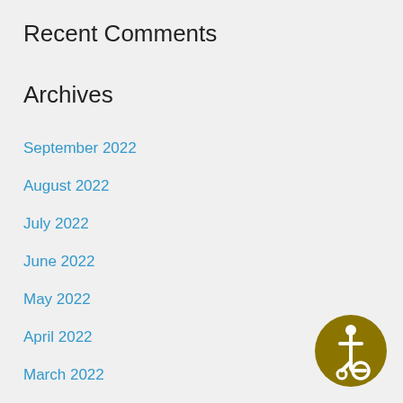Recent Comments
Archives
September 2022
August 2022
July 2022
June 2022
May 2022
April 2022
March 2022
February 2022
January 2022
December 2021
[Figure (logo): Accessibility icon — gold circle with wheelchair user symbol in white]